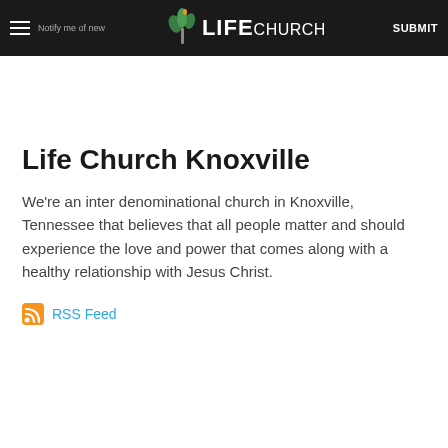Notify me of new… LIFE CHURCH SUBMIT
Life Church Knoxville
We're an inter denominational church in Knoxville, Tennessee that believes that all people matter and should experience the love and power that comes along with a healthy relationship with Jesus Christ.
RSS Feed